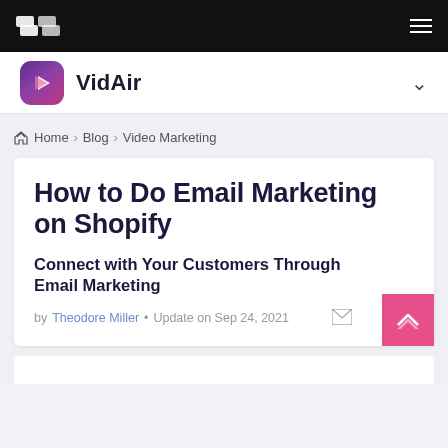VidAir navigation bar
Home > Blog > Video Marketing
How to Do Email Marketing on Shopify
Connect with Your Customers Through Email Marketing
by Theodore Miller • Update on Sep 24, 2021